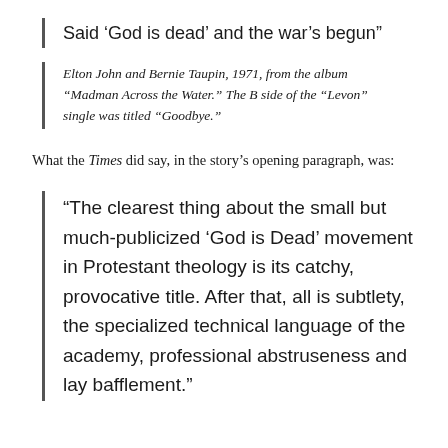Said ‘God is dead’ and the war’s begun”
Elton John and Bernie Taupin, 1971, from the album “Madman Across the Water.” The B side of the “Levon” single was titled “Goodbye.”
What the Times did say, in the story’s opening paragraph, was:
“The clearest thing about the small but much-publicized ‘God is Dead’ movement in Protestant theology is its catchy, provocative title. After that, all is subtlety, the specialized technical language of the academy, professional abstruseness and lay bafflement.”